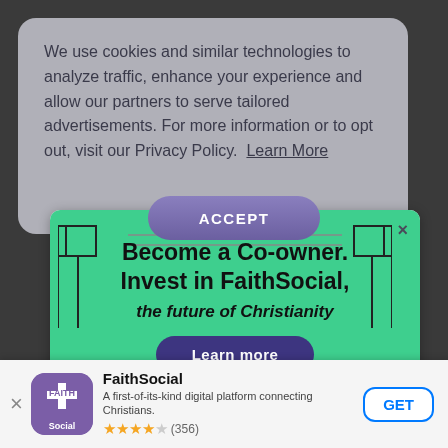We use cookies and similar technologies to analyze traffic, enhance your experience and allow our partners to serve tailored advertisements. For more information or to opt out, visit our Privacy Policy. Learn More
[Figure (screenshot): ACCEPT button - purple/violet rounded pill button]
[Figure (infographic): Advertisement modal on green background with decorative film-strip corner elements. Text: 'Become a Co-owner. Invest in FaithSocial, the future of Christianity'. Purple 'Learn more' button. X close button.]
[Figure (screenshot): App store banner at bottom: FaithSocial app icon (purple with FAITH cross logo), app name 'FaithSocial', description 'A first-of-its-kind digital platform connecting Christians.', 4-star rating (356 reviews), GET button]